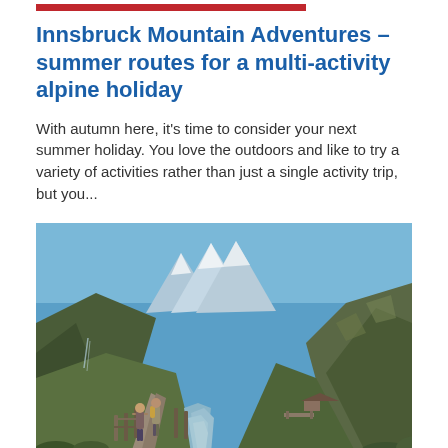Innsbruck Mountain Adventures – summer routes for a multi-activity alpine holiday
With autumn here, it's time to consider your next summer holiday. You love the outdoors and like to try a variety of activities rather than just a single activity trip, but you...
[Figure (photo): Two hikers walking along a mountain path beside a glacial river, surrounded by steep green alpine valleys with rocky peaks and blue sky in the background.]